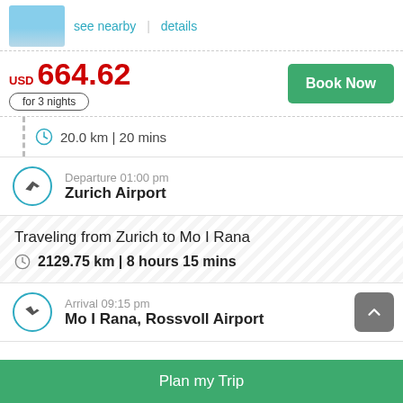[Figure (photo): Hotel or location thumbnail image with blue sky]
see nearby   |   details
USD 664.62
for 3 nights
Book Now
20.0 km | 20 mins
Departure 01:00 pm
Zurich Airport
Traveling from Zurich to Mo I Rana
2129.75 km | 8 hours 15 mins
Arrival 09:15 pm
Mo I Rana, Rossvoll Airport
Plan my Trip